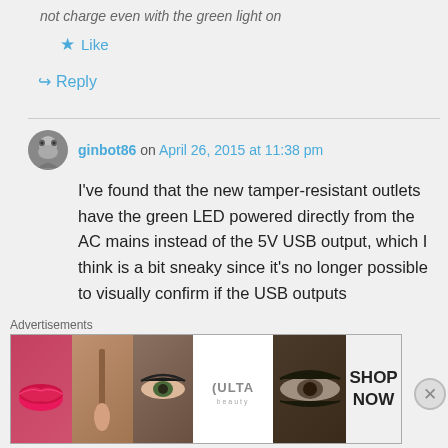not charge even with the green light on
★ Like
↪ Reply
ginbot86 on April 26, 2015 at 11:38 pm
I've found that the new tamper-resistant outlets have the green LED powered directly from the AC mains instead of the 5V USB output, which I think is a bit sneaky since it's no longer possible to visually confirm if the USB outputs
Advertisements
[Figure (photo): ULTA beauty advertisement banner with makeup/cosmetics imagery and 'SHOP NOW' text]